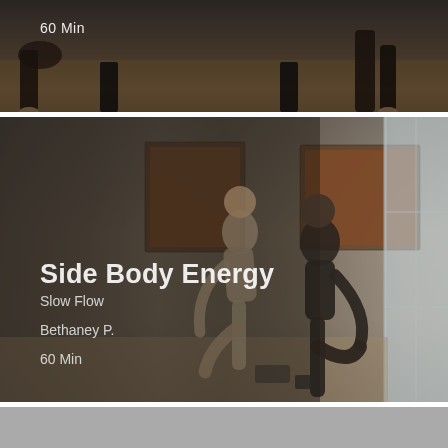[Figure (photo): Top card: dark photo of yoga mats and feet on studio floor, partially visible. Text overlay '60 Min' in white at top left.]
[Figure (photo): Main card: Two women in a yoga studio performing standing balance poses, holding their feet behind them. Art paintings on wall in background, large windows on right. Dark semi-transparent overlay on left with class info text.]
Side Body Energy
Slow Flow
Bethaney P.
60 Min
[Figure (photo): Bottom card: light gray placeholder or loading image, no visible content.]